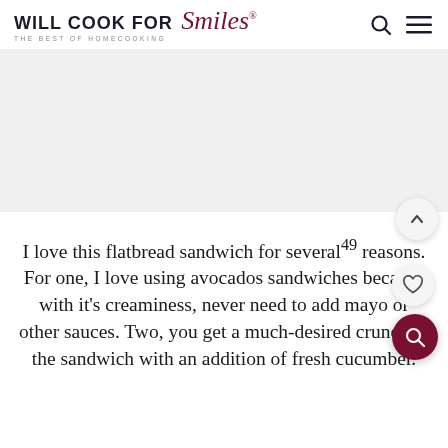WILL COOK FOR Smiles® — THE BEST OF HOMECOOKING
[Figure (photo): Gray placeholder image area representing a food photograph]
I love this flatbread sandwich for several49 reasons. For one, I love using avocados sandwiches because with it's creaminess, never need to add mayo or other sauces. Two, you get a much-desired crunch in the sandwich with an addition of fresh cucumber.